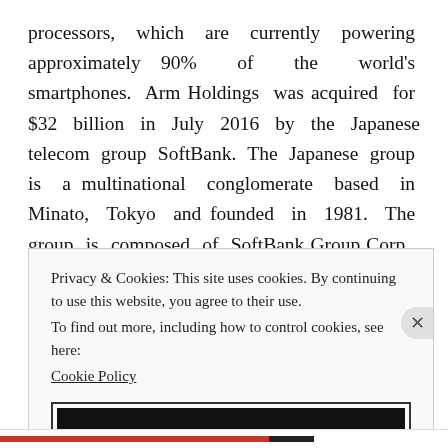processors, which are currently powering approximately 90% of the world's smartphones. Arm Holdings was acquired for $32 billion in July 2016 by the Japanese telecom group SoftBank. The Japanese group is a multinational conglomerate based in Minato, Tokyo and founded in 1981. The group is composed of SoftBank Group Corp., the holding company, Arm Limited and the SoftBank Vision Fund, one of the largest technology-focused venture capital fund holding a capital of over
Privacy & Cookies: This site uses cookies. By continuing to use this website, you agree to their use.
To find out more, including how to control cookies, see here:
Cookie Policy
Close and accept